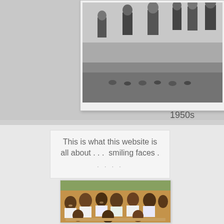[Figure (photo): Black and white photograph from the 1950s showing people standing outdoors, with objects arranged on the ground]
1950s
This is what this website is all about . . .  smiling faces .
[Figure (photo): Color photograph showing a large group of smiling African children seated at school desks]